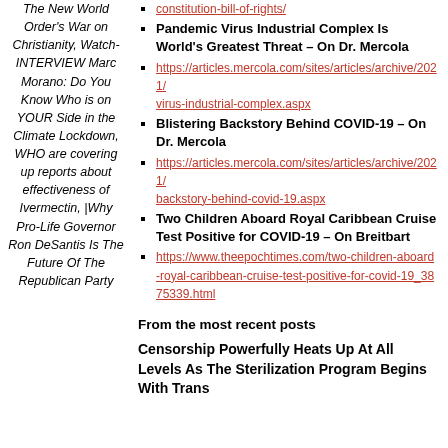The New World Order's War on Christianity, Watch- INTERVIEW Marc Morano: Do You Know Who is on YOUR Side in the Climate Lockdown, WHO are covering up reports about effectiveness of Ivermectin, |Why Pro-Life Governor Ron DeSantis Is The Future Of The Republican Party
constitution-bill-of-rights/ (link)
Pandemic Virus Industrial Complex Is World's Greatest Threat – On Dr. Mercola
https://articles.mercola.com/sites/articles/archive/2021/ virus-industrial-complex.aspx
Blistering Backstory Behind COVID-19 – On Dr. Mercola
https://articles.mercola.com/sites/articles/archive/2021/ backstory-behind-covid-19.aspx
Two Children Aboard Royal Caribbean Cruise Test Positive for COVID-19 – On Breitbart
https://www.theepochtimes.com/two-children-aboard-royal-caribbean-cruise-test-positive-for-covid-19_3875339.html
From the most recent posts
Censorship Powerfully Heats Up At All Levels As The Sterilization Program Begins With Trans